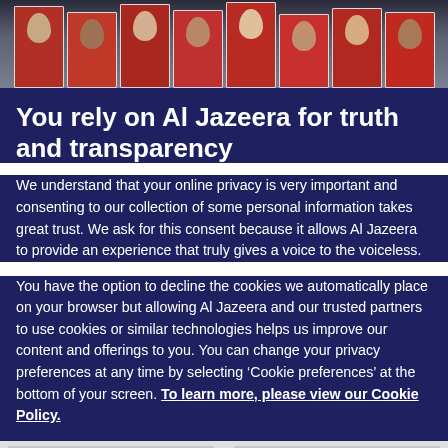[Figure (photo): Photo strip showing protest scene with people holding up portrait photos/signs, red and white banners visible]
You rely on Al Jazeera for truth and transparency
We understand that your online privacy is very important and consenting to our collection of some personal information takes great trust. We ask for this consent because it allows Al Jazeera to provide an experience that truly gives a voice to the voiceless.
You have the option to decline the cookies we automatically place on your browser but allowing Al Jazeera and our trusted partners to use cookies or similar technologies helps us improve our content and offerings to you. You can change your privacy preferences at any time by selecting ‘Cookie preferences’ at the bottom of your screen. To learn more, please view our Cookie Policy.